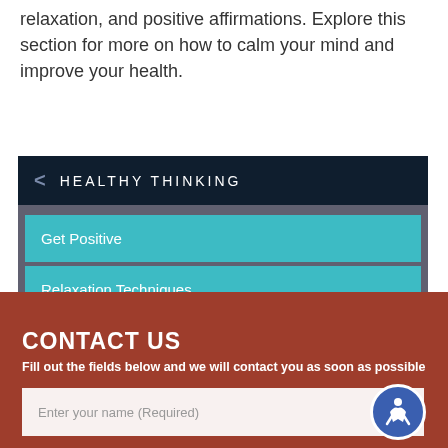relaxation, and positive affirmations. Explore this section for more on how to calm your mind and improve your health.
[Figure (screenshot): Mobile app navigation menu titled 'HEALTHY THINKING' with two teal menu items: 'Get Positive' and 'Relaxation Techniques']
[Figure (screenshot): Contact Us section with dark red/brown background, heading 'CONTACT US', subtitle 'Fill out the fields below and we will contact you as soon as possible', and a text input field labeled 'Enter your name (Required)' with an accessibility icon button]